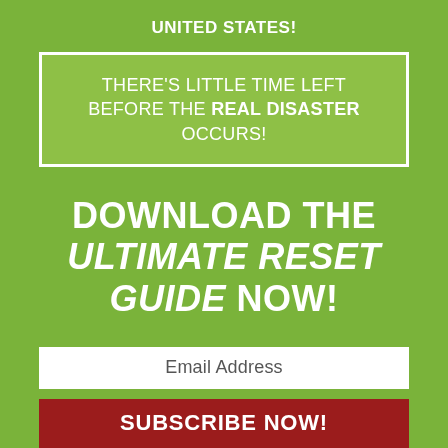UNITED STATES!
THERE'S LITTLE TIME LEFT BEFORE THE REAL DISASTER OCCURS!
DOWNLOAD THE ULTIMATE RESET GUIDE NOW!
Email Address
SUBSCRIBE NOW!